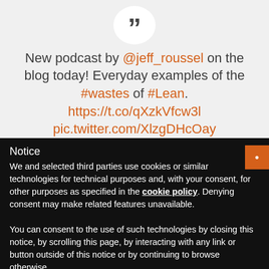[Figure (other): White circle with large dark quotation mark (close-quote) inside, on a light gray background]
New podcast by @jeff_roussel on the blog today! Everyday examples of the #wastes of #Lean. https://t.co/qXzkVfcw3l pic.twitter.com/XlzgDHcOay
Notice
We and selected third parties use cookies or similar technologies for technical purposes and, with your consent, for other purposes as specified in the cookie policy. Denying consent may make related features unavailable.
You can consent to the use of such technologies by closing this notice, by scrolling this page, by interacting with any link or button outside of this notice or by continuing to browse otherwise.